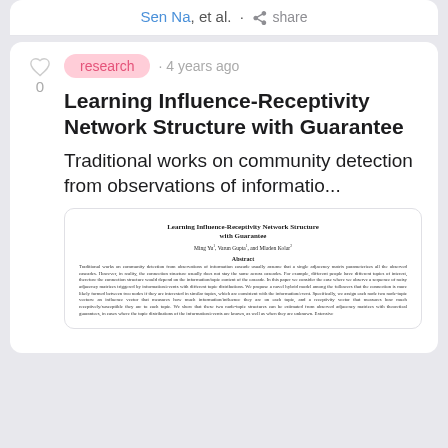Sen Na, et al. · share
research · 4 years ago
Learning Influence-Receptivity Network Structure with Guarantee
Traditional works on community detection from observations of informatio...
[Figure (screenshot): Thumbnail preview of the paper showing title 'Learning Influence-Receptivity Network Structure with Guarantee', authors 'Ming Yu, Varun Gupta, and Mladen Kolar', and the abstract text beginning with 'Traditional works on community detection from observations of information cascade...']